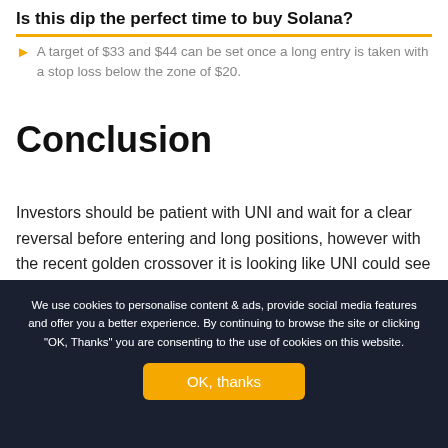Is this dip the perfect time to buy Solana?
A target of $33 and $44 can be set once a long entry is taken with a stop loss below the zone of $20.
Conclusion
Investors should be patient with UNI and wait for a clear reversal before entering and long positions, however with the recent golden crossover it is looking like UNI could see some strong moves in the coming weeks.
[Figure (other): Social media share icons: Facebook (f) and Twitter (bird) in yellow/orange circle outlines]
We use cookies to personalise content & ads, provide social media features and offer you a better experience. By continuing to browse the site or clicking "OK, Thanks" you are consenting to the use of cookies on this website.